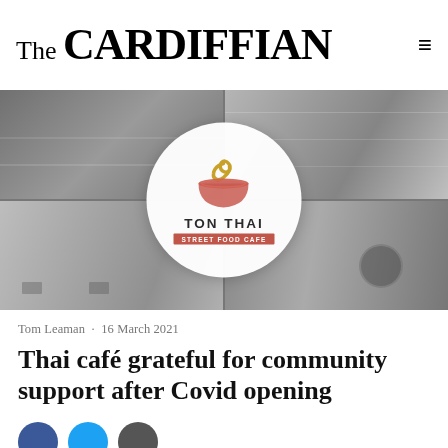The CARDIFFIAN
[Figure (photo): Collage of four photos showing kitchen and restaurant interior scenes, with the Ton Thai Street Food Cafe logo overlaid in a white circle in the center. The logo features a stylized bowl with noodles in salmon/coral and gold colors, text reads TON THAI STREET FOOD CAFE.]
Tom Leaman · 16 March 2021
Thai café grateful for community support after Covid opening